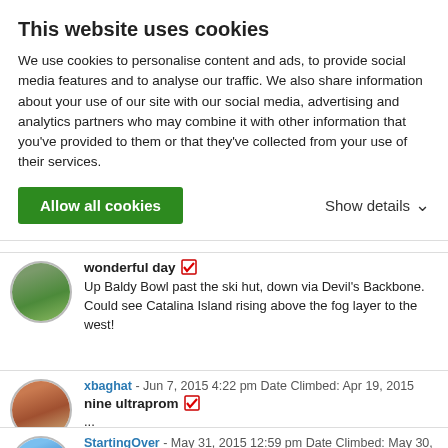This website uses cookies
We use cookies to personalise content and ads, to provide social media features and to analyse our traffic. We also share information about your use of our site with our social media, advertising and analytics partners who may combine it with other information that you've provided to them or that they've collected from your use of their services.
Allow all cookies | Show details
wonderful day
Up Baldy Bowl past the ski hut, down via Devil's Backbone. Could see Catalina Island rising above the fog layer to the west!
xbaghat - Jun 7, 2015 4:22 pm Date Climbed: Apr 19, 2015
nine ultraprom
...
StartingOver - May 31, 2015 12:59 pm Date Climbed: May 30, 2015
Climbed via Ski Hut Trail